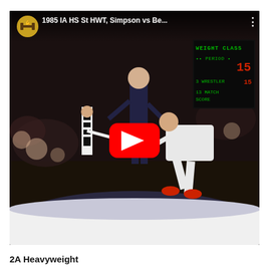[Figure (screenshot): YouTube video thumbnail showing a 1985 Iowa High School State Heavyweight wrestling match between Simpson and Be... (truncated). Two wrestlers and a referee are visible on the mat. A scoreboard in the top-right shows WEIGHT CLASS, PERIOD, WRESTLER and MATCH SCORE. A YouTube play button overlay is centered. The video title bar reads '1985 IA HS St HWT, Simpson vs Be...' with a channel icon.]
2A Heavyweight